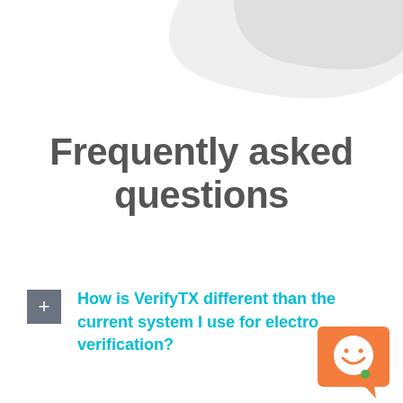[Figure (illustration): Decorative gray swoosh/wave shape in the top-right corner of the page]
Frequently asked questions
How is VerifyTX different than the current system I use for electro verification?
[Figure (logo): Orange speech bubble chat icon with a smiling face and a green dot, bottom-right corner]